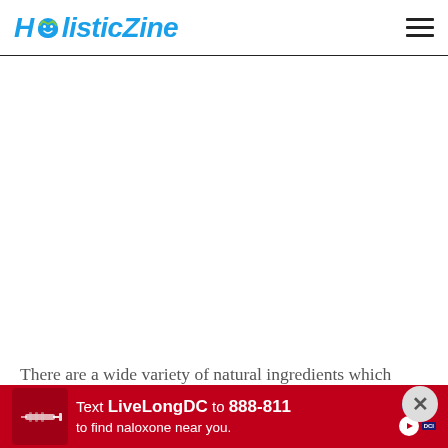HolisticZine
[Figure (other): Advertisement placeholder area (blank white space)]
There are a wide variety of natural ingredients which can be used to make an effective ayurvedic medicine for cough. The formulation is obtained by combining
[Figure (other): Bottom advertisement banner: Text LiveLongDC to 888-811 to find naloxone near you.]